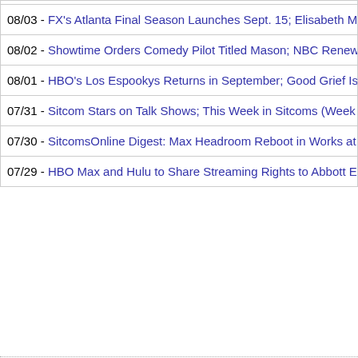08/03 - FX's Atlanta Final Season Launches Sept. 15; Elisabeth Moss Gets
08/02 - Showtime Orders Comedy Pilot Titled Mason; NBC Renews Weakest
08/01 - HBO's Los Espookys Returns in September; Good Grief Is Back on
07/31 - Sitcom Stars on Talk Shows; This Week in Sitcoms (Week of August
07/30 - SitcomsOnline Digest: Max Headroom Reboot in Works at AMC Net
07/29 - HBO Max and Hulu to Share Streaming Rights to Abbott Elementary